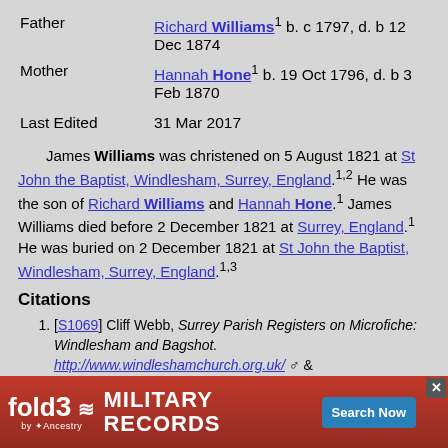| Father | Richard Williams¹ b. c 1797, d. b 12 Dec 1874 |
| Mother | Hannah Hone¹ b. 19 Oct 1796, d. b 3 Feb 1870 |
| Last Edited | 31 Mar 2017 |
James Williams was christened on 5 August 1821 at St John the Baptist, Windlesham, Surrey, England.1,2 He was the son of Richard Williams and Hannah Hone.1 James Williams died before 2 December 1821 at Surrey, England.1 He was buried on 2 December 1821 at St John the Baptist, Windlesham, Surrey, England.1,3
Citations
[S1069] Cliff Webb, Surrey Parish Registers on Microfiche: Windlesham and Bagshot. http://www.windleshamchurch.org.uk/ & http://netministries.org/see/churches/ch04018 (n.p.: n.pub., 2002).
[S1373] Various, 40000 Ancestry.co.uk ...